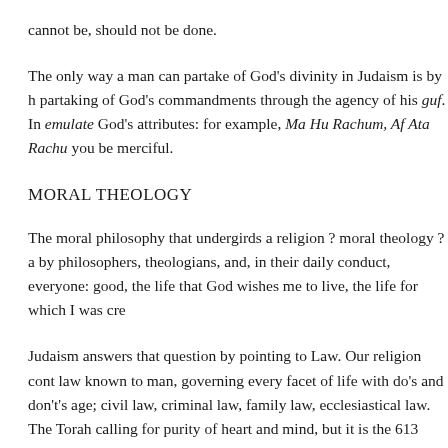cannot be, should not be done.
The only way a man can partake of God's divinity in Judaism is by partaking of God's commandments through the agency of his guf. In emulate God's attributes: for example, Ma Hu Rachum, Af Ata Rachu you be merciful.
MORAL THEOLOGY
The moral philosophy that undergirds a religion ? moral theology ? a by philosophers, theologians, and, in their daily conduct, everyone: good, the life that God wishes me to live, the life for which I was cre
Judaism answers that question by pointing to Law. Our religion cont law known to man, governing every facet of life with do's and don'ts age; civil law, criminal law, family law, ecclesiastical law. The Torah calling for purity of heart and mind, but it is the 613 Divine comman that are primary. In other words, Judaism posits that righteous behav and mind. A typical example of this view is Chazal's statement, Mito